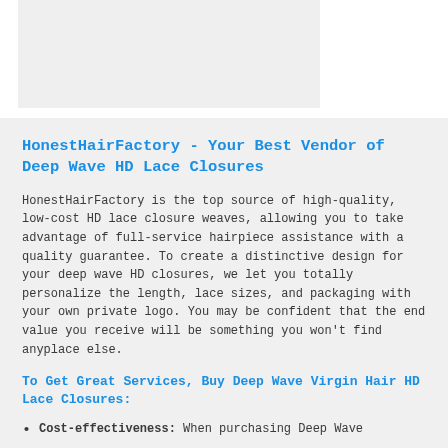[Figure (photo): Gray placeholder image in upper left area]
HonestHairFactory - Your Best Vendor of Deep Wave HD Lace Closures
HonestHairFactory is the top source of high-quality, low-cost HD lace closure weaves, allowing you to take advantage of full-service hairpiece assistance with a quality guarantee. To create a distinctive design for your deep wave HD closures, we let you totally personalize the length, lace sizes, and packaging with your own private logo. You may be confident that the end value you receive will be something you won't find anyplace else.
To Get Great Services, Buy Deep Wave Virgin Hair HD Lace Closures:
Cost-effectiveness: When purchasing Deep Wave